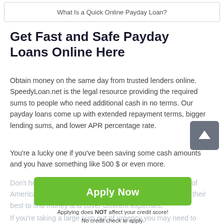What Is a Quick Online Payday Loan?
Get Fast and Safe Payday Loans Online Here
Obtain money on the same day from trusted lenders online. SpeedyLoan.net is the legal resource providing the required sums to people who need additional cash in no terms. Our payday loans come up with extended repayment terms, bigger lending sums, and lower APR percentage rate.
You're a lucky one if you've been saving some cash amounts and you have something like 500 $ or even more.
Don't hesitate to ask someone to praise you because lots of Americans don't have any extra cash and they have to do their best to find money and cover different expenses.
[Figure (other): Green Apply Now button with overlay text: Applying does NOT affect your credit score! No credit check to apply.]
If you're taking a large sum out of urgency you may need to look for additional funds, let us explain it.